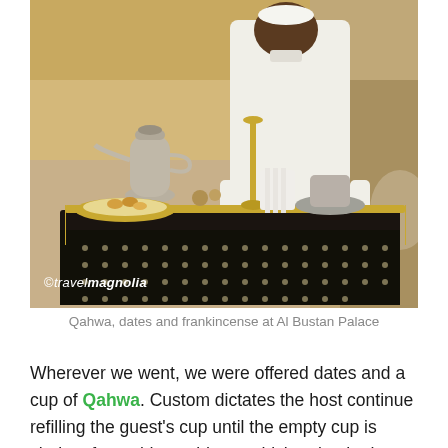[Figure (photo): A man dressed in white traditional Omani attire standing behind an ornate dark wooden cart/trolley with brass fittings, displaying Arabic coffee pots (dallah), serving trays with dates and other items. The setting appears to be a luxury hotel lobby. Watermark reads ©travelmagnolia.]
Qahwa, dates and frankincense at Al Bustan Palace
Wherever we went, we were offered dates and a cup of Qahwa. Custom dictates the host continue refilling the guest's cup until the empty cup is shaken from side to side, at which point the host can imbibe.  The basic recipe includes coffee, cardamon, rose water and either saffron or cinnamon and cloves.  It did not